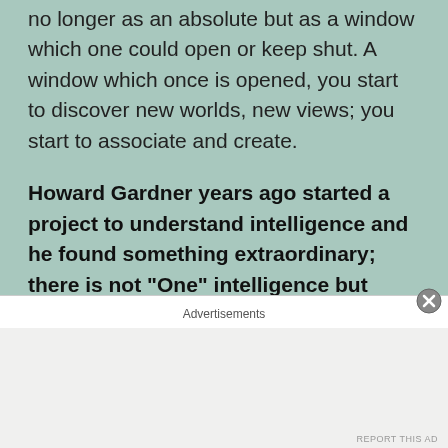no longer as an absolute but as a window which one could open or keep shut. A window which once is opened, you start to discover new worlds, new views; you start to associate and create.
Howard Gardner years ago started a project to understand intelligence and he found something extraordinary; there is not “One” intelligence but “Nine”. This means if someone explains to you things in your intelligence language, you can understand
Advertisements